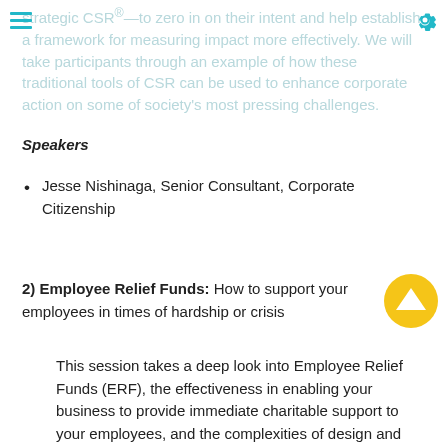strategic CSR®—to zero in on their intent and help establish a framework for measuring impact more effectively. We will take participants through an example of how these traditional tools of CSR can be used to enhance corporate action on some of society’s most pressing challenges.
Speakers
Jesse Nishinaga, Senior Consultant, Corporate Citizenship
2) Employee Relief Funds: How to support your employees in times of hardship or crisis
This session takes a deep look into Employee Relief Funds (ERF), the effectiveness in enabling your business to provide immediate charitable support to your employees, and the complexities of design and